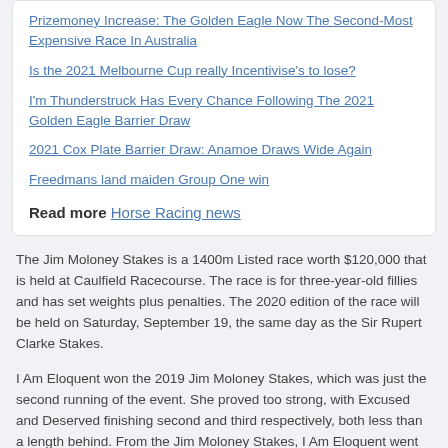Prizemoney Increase: The Golden Eagle Now The Second-Most Expensive Race In Australia
Is the 2021 Melbourne Cup really Incentivise's to lose?
I'm Thunderstruck Has Every Chance Following The 2021 Golden Eagle Barrier Draw
2021 Cox Plate Barrier Draw: Anamoe Draws Wide Again
Freedmans land maiden Group One win
Read more Horse Racing news
The Jim Moloney Stakes is a 1400m Listed race worth $120,000 that is held at Caulfield Racecourse. The race is for three-year-old fillies and has set weights plus penalties. The 2020 edition of the race will be held on Saturday, September 19, the same day as the Sir Rupert Clarke Stakes.
I Am Eloquent won the 2019 Jim Moloney Stakes, which was just the second running of the event. She proved too strong, with Excused and Deserved finishing second and third respectively, both less than a length behind. From the Jim Moloney Stakes, I Am Eloquent went on to race in the Group 1 Thousand Guineas, however, finished towards the back of the field.